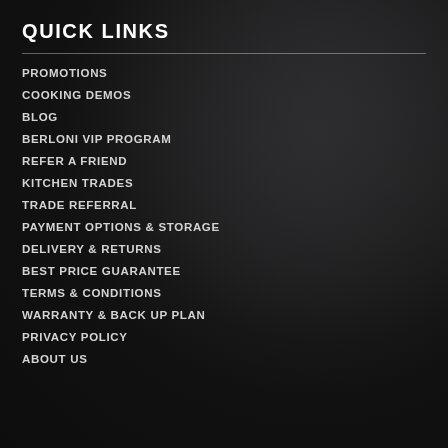QUICK LINKS
PROMOTIONS
COOKING DEMOS
BLOG
BERLONI VIP PROGRAM
REFER A FRIEND
KITCHEN TRADES
TRADE REFERRAL
PAYMENT OPTIONS & STORAGE
DELIVERY & RETURNS
BEST PRICE GUARANTEE
TERMS & CONDITIONS
WARRANTY & BACK UP PLAN
PRIVACY POLICY
ABOUT US